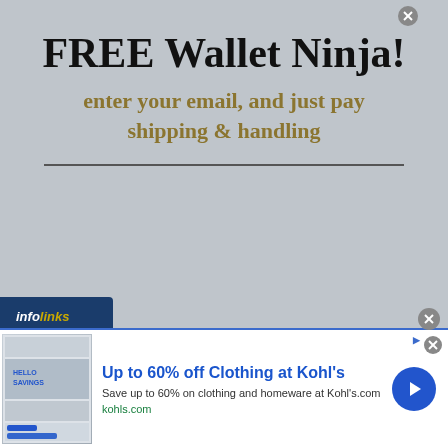FREE Wallet Ninja!
enter your email, and just pay shipping & handling
[Figure (photo): Dark multi-tool wallet card (Wallet Ninja) with labels: LETTER OPENER, BOX OPENER, INCH RULER, CELL PHO[NE], and NW logo visible, partially shown at bottom of promo area]
[Figure (logo): Infolinks logo badge in dark blue with gold/yellow 'infolinks' text]
[Figure (screenshot): Advertisement overlay: 'Up to 60% off Clothing at Kohl's' ad from kohls.com with thumbnail image on left, headline and body text in center, blue circular arrow button on right, and close buttons]